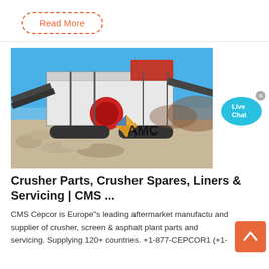Read More
[Figure (photo): Outdoor photo of a large mobile crusher/screen machine on a construction/quarry site with a blue sky background. A prominent GAMC logo is overlaid on the lower-right of the image.]
[Figure (illustration): Live Chat bubble icon in cyan/teal color with an x close button]
Crusher Parts, Crusher Spares, Liners & Servicing | CMS ...
CMS Cepcor is Europe"s leading aftermarket manufacturer and supplier of crusher, screen & asphalt plant parts and servicing. Supplying 120+ countries. +1-877-CEPCOR1 (+1-